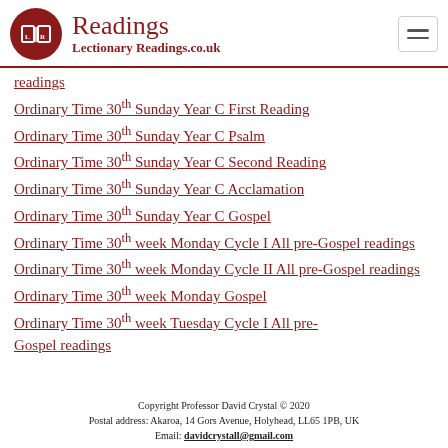Readings
Lectionary Readings.co.uk
readings
Ordinary Time 30th Sunday Year C First Reading
Ordinary Time 30th Sunday Year C Psalm
Ordinary Time 30th Sunday Year C Second Reading
Ordinary Time 30th Sunday Year C Acclamation
Ordinary Time 30th Sunday Year C Gospel
Ordinary Time 30th week Monday Cycle I All pre-Gospel readings
Ordinary Time 30th week Monday Cycle II All pre-Gospel readings
Ordinary Time 30th week Monday Gospel
Ordinary Time 30th week Tuesday Cycle I All pre-Gospel readings
Copyright Professor David Crystal © 2020
Postal address: Akaroa, 14 Gors Avenue, Holyhead, LL65 1PB, UK
Email: davidcrystall@gmail.com